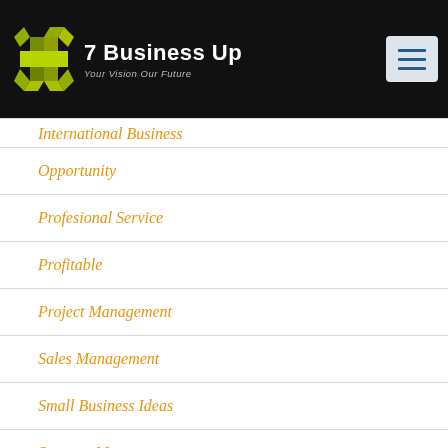7 Business Up — Your Vision Our Future
International Business
Opportunity
Profesional Service
Profitable
Project Management
Sales Management
Small Business Ideas
Strategy Management